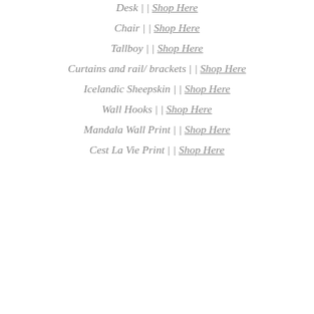Desk || Shop Here
Chair || Shop Here
Tallboy || Shop Here
Curtains and rail/ brackets || Shop Here
Icelandic Sheepskin || Shop Here
Wall Hooks || Shop Here
Mandala Wall Print || Shop Here
Cest La Vie Print || Shop Here